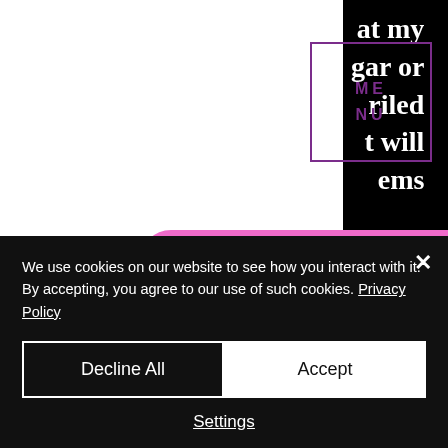[Figure (screenshot): Website screenshot showing a MENU box with purple border and text, a pink pill-shaped search bar with 'Search...' placeholder and magnifying glass icon, partial black right column with white serif text fragments 'at my', 'gar or', 'riled', 't will', 'ems', dark background story text area with tilde separator '~ ~ ~' and opening of story text 'I woke up to Victoria in bed beside me with her back facing me. Last time her back was facing me was when she']
~ ~ ~
I woke up to Victoria in bed beside me with her back facing me. Last time her back was facing me was when she
We use cookies on our website to see how you interact with it. By accepting, you agree to our use of such cookies. Privacy Policy
Decline All
Accept
Settings